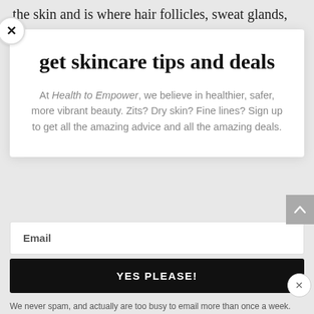the skin and is where hair follicles, sweat glands, rve endings, and blood vessels reside. Most
get skincare tips and deals
At Health to Empower, we believe in healthier, safer, more vibrant beauty. Zits? Dry skin? Fine lines? Sign up to get all the amazing advice and all the amazing deals.
Email
YES PLEASE!
We never spam, and actually are too busy to email more than once a week. Plus we only write if we have something really worthwhile and exciting to share <3